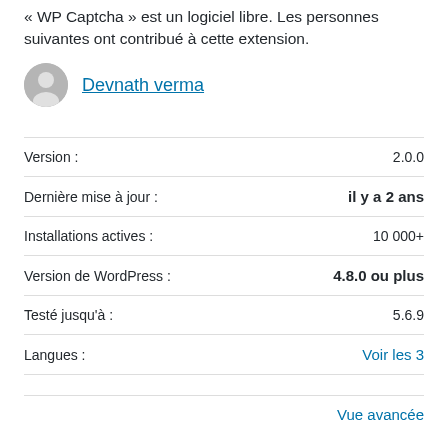« WP Captcha » est un logiciel libre. Les personnes suivantes ont contribué à cette extension.
Devnath verma
| Label | Value |
| --- | --- |
| Version : | 2.0.0 |
| Dernière mise à jour : | il y a 2 ans |
| Installations actives : | 10 000+ |
| Version de WordPress : | 4.8.0 ou plus |
| Testé jusqu'à : | 5.6.9 |
| Langues : | Voir les 3 |
Vue avancée